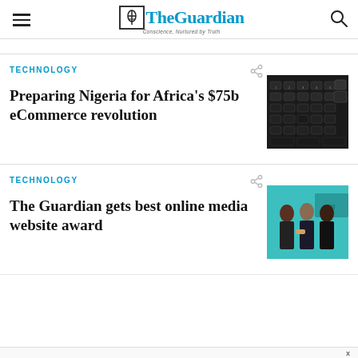The Guardian — Conscience, Nurtured by Truth
TECHNOLOGY
Preparing Nigeria for Africa's $75b eCommerce revolution
[Figure (photo): Close-up photo of a dark computer keyboard with black keys]
TECHNOLOGY
The Guardian gets best online media website award
[Figure (photo): Photo of people at an awards ceremony with green background and signage]